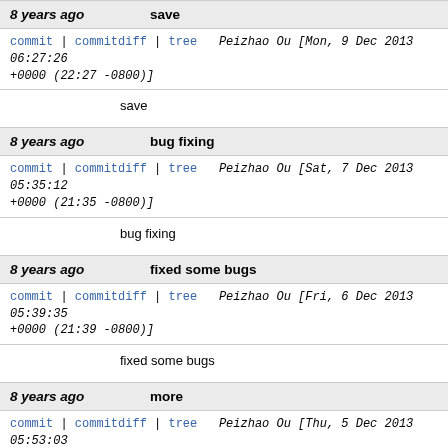8 years ago | save | commit | commitdiff | tree | Peizhao Ou [Mon, 9 Dec 2013 06:27:26 +0000 (22:27 -0800)]
save
8 years ago | bug fixing | commit | commitdiff | tree | Peizhao Ou [Sat, 7 Dec 2013 05:35:12 +0000 (21:35 -0800)]
bug fixing
8 years ago | fixed some bugs | commit | commitdiff | tree | Peizhao Ou [Fri, 6 Dec 2013 05:39:35 +0000 (21:39 -0800)]
fixed some bugs
8 years ago | more | commit | commitdiff | tree | Peizhao Ou [Thu, 5 Dec 2013 05:53:03 +0000 (21:53 -0800)]
more